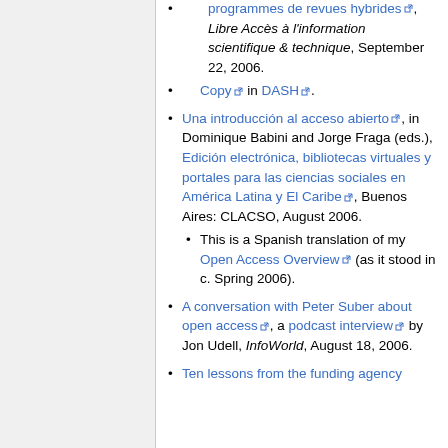programmes de revues hybrides, Libre Accès à l'information scientifique & technique, September 22, 2006.
Copy in DASH.
Una introducción al acceso abierto, in Dominique Babini and Jorge Fraga (eds.), Edición electrónica, bibliotecas virtuales y portales para las ciencias sociales en América Latina y El Caribe, Buenos Aires: CLACSO, August 2006.
This is a Spanish translation of my Open Access Overview (as it stood in c. Spring 2006).
A conversation with Peter Suber about open access, a podcast interview by Jon Udell, InfoWorld, August 18, 2006.
Ten lessons from the funding agency